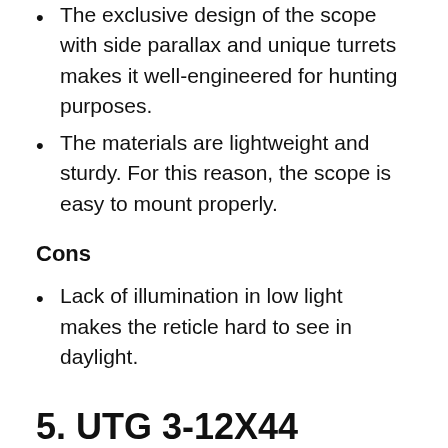The exclusive design of the scope with side parallax and unique turrets makes it well-engineered for hunting purposes.
The materials are lightweight and sturdy. For this reason, the scope is easy to mount properly.
Cons
Lack of illumination in low light makes the reticle hard to see in daylight.
5. UTG 3-12X44 30mm Compact Scope, AO | Best Scopes for Barrett 50 Cal